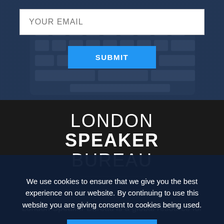[Figure (screenshot): Email subscription form with 'YOUR EMAIL' input field and 'SUBMIT' button on a dark blue background with keyboard imagery]
[Figure (logo): London Speaker Bureau logo — text reads LONDON SPEAKER BUREAU in white on dark background, with horizontal rule beneath]
London Speaker Bureau is a global resource for
We use cookies to ensure that we give you the best experience on our website. By continuing to use this website you are giving consent to cookies being used.